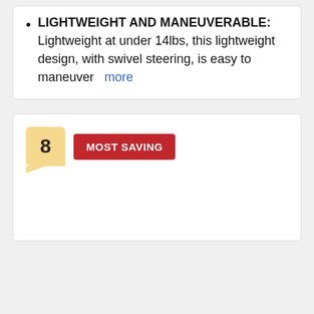LIGHTWEIGHT AND MANEUVERABLE: Lightweight at under 14lbs, this lightweight design, with swivel steering, is easy to maneuver more
[Figure (infographic): Ranking card showing number 8 badge in gold/yellow with a speech bubble tail, and a red 'MOST SAVING' label beside it]